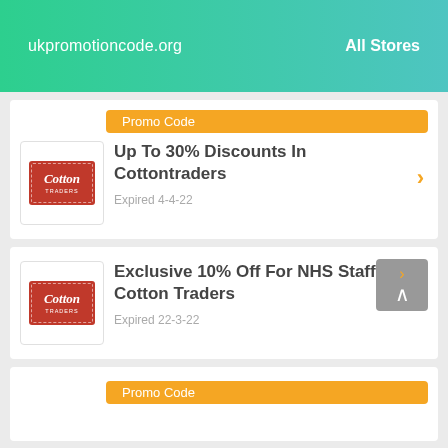ukpromotioncode.org   All Stores
Promo Code
Up To 30% Discounts In Cottontraders
Expired 4-4-22
Exclusive 10% Off For NHS Staff At Cotton Traders
Expired 22-3-22
Promo Code